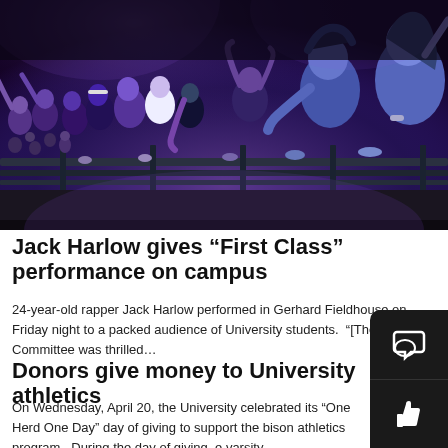[Figure (photo): A large crowd of excited young people leaning over a metal barrier at a concert. The scene is lit with purple/violet stage lighting. People in the crowd are cheering, waving, and reaching forward toward the stage.]
Jack Harlow gives “First Class” performance on campus
24-year-old rapper Jack Harlow performed in Gerhard Fieldhouse on Friday night to a packed audience of University students.  “[The] Concert Committee was thrilled…
Donors give money to University athletics
On Wednesday, April 20, the University celebrated its “One Herd One Day” day of giving to support the bison athletics program.  During the day of giving, e varsity…